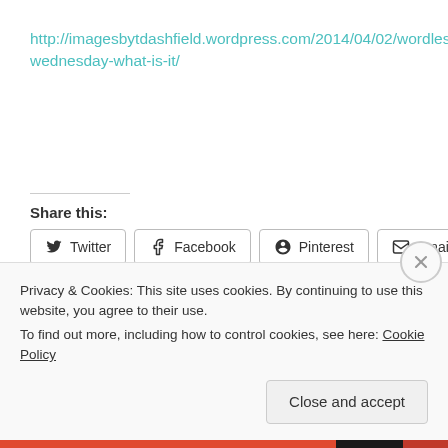http://imagesbytdashfield.wordpress.com/2014/04/02/wordless-wednesday-what-is-it/
Share this:
Twitter  Facebook  Pinterest  Email
Privacy & Cookies: This site uses cookies. By continuing to use this website, you agree to their use.
To find out more, including how to control cookies, see here: Cookie Policy
Close and accept